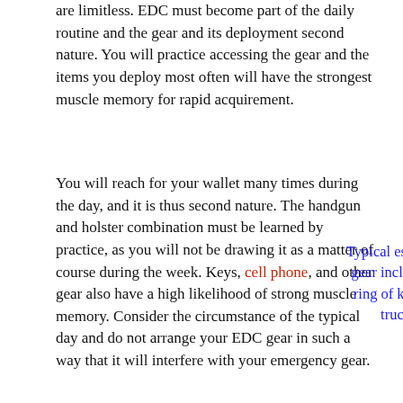are limitless. EDC must become part of the daily routine and the gear and its deployment second nature. You will practice accessing the gear and the items you deploy most often will have the strongest muscle memory for rapid acquirement.
You will reach for your wallet many times during the day, and it is thus second nature. The handgun and holster combination must be learned by practice, as you will not be drawing it as a matter of course during the week. Keys, cell phone, and other gear also have a high likelihood of strong muscle memory. Consider the circumstance of the typical day and do not arrange your EDC gear in such a way that it will interfere with your emergency gear.
Typical essential gear includes a ring of keys, a truck